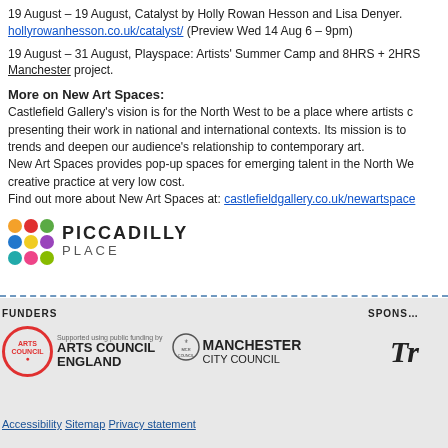19 August – 19 August, Catalyst by Holly Rowan Hesson and Lisa Denyer. hollyrowanhesson.co.uk/catalyst/ (Preview Wed 14 Aug 6 – 9pm)
19 August – 31 August, Playspace: Artists' Summer Camp and 8HRS + 2HRS Manchester project.
More on New Art Spaces:
Castlefield Gallery's vision is for the North West to be a place where artists can flourish, presenting their work in national and international contexts. Its mission is to champion new trends and deepen our audience's relationship to contemporary art.
New Art Spaces provides pop-up spaces for emerging talent in the North West to develop creative practice at very low cost.
Find out more about New Art Spaces at: castlefieldgallery.co.uk/newartspaces
[Figure (logo): Piccadilly Place logo with colourful dot grid and text PICCADILLY PLACE]
FUNDERS
SPONSORS
[Figure (logo): Arts Council England logo]
[Figure (logo): Manchester City Council logo]
[Figure (logo): Partial sponsor logo (partially visible)]
Accessibility  Sitemap  Privacy statement